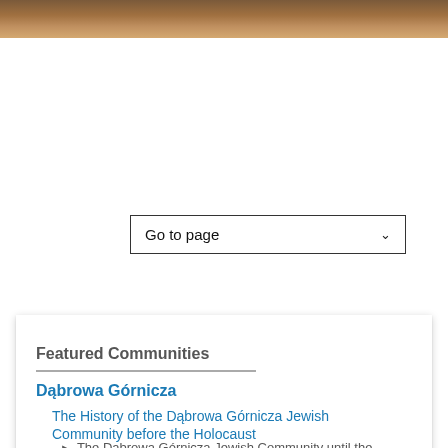[Figure (photo): Partial view of a photograph or banner image at the top of the page, showing warm brown/tan tones, possibly a historical or community photo.]
[Figure (screenshot): A dropdown UI element labeled 'Go to page' with a downward chevron arrow, bordered box on white background.]
Featured Communities
Dąbrowa Górnicza
The History of the Dąbrowa Górnicza Jewish Community before the Holocaust
The Dąbrowa Górnicza Jewish Community until the end of WWI